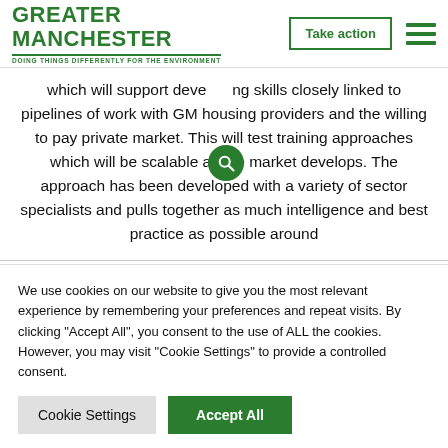GREATER MANCHESTER — DOING THINGS DIFFERENTLY FOR THE ENVIRONMENT | Take action | [hamburger menu]
which will support developing skills closely linked to pipelines of work with GM housing providers and the willing to pay private market. This will test training approaches which will be scalable as the market develops. The approach has been developed with a variety of sector specialists and pulls together as much intelligence and best practice as possible around
We use cookies on our website to give you the most relevant experience by remembering your preferences and repeat visits. By clicking "Accept All", you consent to the use of ALL the cookies. However, you may visit "Cookie Settings" to provide a controlled consent.
Cookie Settings | Accept All